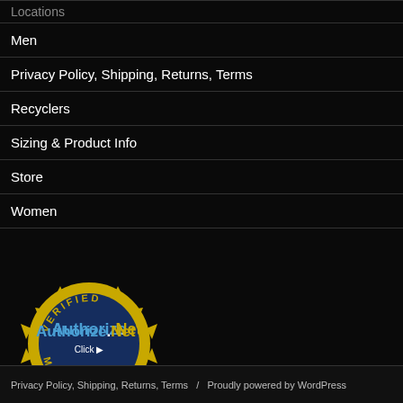Locations
Men
Privacy Policy, Shipping, Returns, Terms
Recyclers
Sizing & Product Info
Store
Women
[Figure (logo): Authorize.Net Verified Merchant badge - circular gold seal with blue Authorize.Net text and 'VERIFIED MERCHANT Click' text]
Privacy Policy, Shipping, Returns, Terms  /  Proudly powered by WordPress